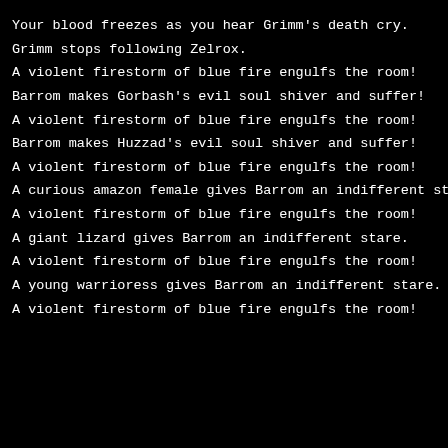Your blood freezes as you hear Grimm's death cry.
Grimm stops following Zelrox.
A violent firestorm of blue fire engulfs the room!
Barrom makes Gorbash's evil soul shiver and suffer!
A violent firestorm of blue fire engulfs the room!
Barrom makes Huzzad's evil soul shiver and suffer!
A violent firestorm of blue fire engulfs the room!
A curious amazon female gives Barrom an indifferent stare.
A violent firestorm of blue fire engulfs the room!
A giant lizard gives Barrom an indifferent stare.
A violent firestorm of blue fire engulfs the room!
A young warrioress gives Barrom an indifferent stare.
A violent firestorm of blue fire engulfs the room!